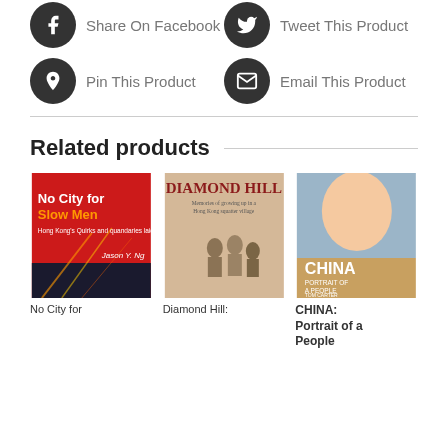Share On Facebook
Tweet This Product
Pin This Product
Email This Product
Related products
[Figure (photo): Book cover: No City for Slow Men by Jason Y. Ng]
No City for
[Figure (photo): Book cover: Diamond Hill: Memories of growing up in a Hong Kong squatter village]
Diamond Hill:
[Figure (photo): Book cover: China Portrait of a People by Tom Carter]
CHINA: Portrait of a People